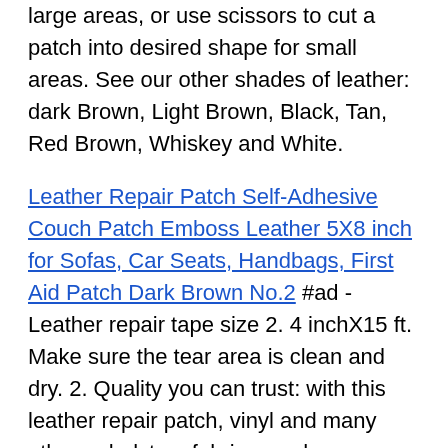large areas, or use scissors to cut a patch into desired shape for small areas. See our other shades of leather: dark Brown, Light Brown, Black, Tan, Red Brown, Whiskey and White.
Leather Repair Patch Self-Adhesive Couch Patch Emboss Leather 5X8 inch for Sofas, Car Seats, Handbags, First Aid Patch Dark Brown No.2 #ad - Leather repair tape size 2. 4 inchX15 ft. Make sure the tear area is clean and dry. 2. Quality you can trust: with this leather repair patch, vinyl and many other upholstery fabrics, such as car seats, handbags, sofas, you can finally bring your favorite furniture and clothes back to life! Repair Patch First aid works on leather, suitcases and leather jackets.